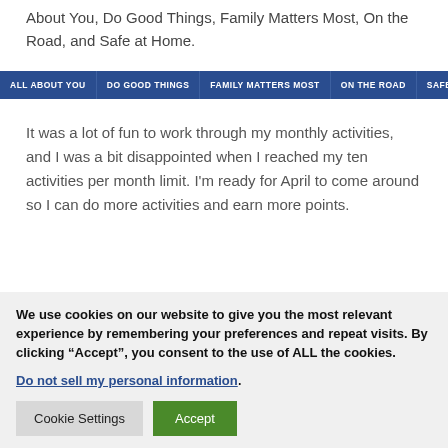About You, Do Good Things, Family Matters Most, On the Road, and Safe at Home.
[Figure (other): Navigation bar with tabs: ALL ABOUT YOU, DO GOOD THINGS, FAMILY MATTERS MOST, ON THE ROAD, SAFE AT HOME on blue background]
It was a lot of fun to work through my monthly activities, and I was a bit disappointed when I reached my ten activities per month limit. I'm ready for April to come around so I can do more activities and earn more points.
We use cookies on our website to give you the most relevant experience by remembering your preferences and repeat visits. By clicking “Accept”, you consent to the use of ALL the cookies. Do not sell my personal information.